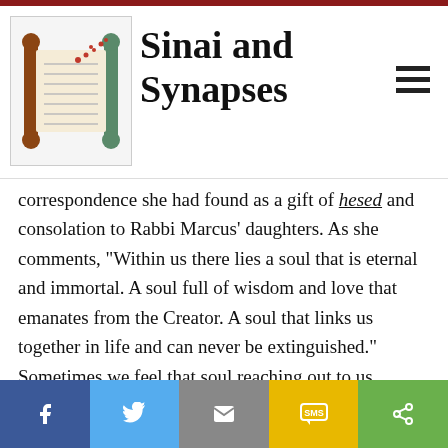Sinai and Synapses
correspondence she had found as a gift of hesed and consolation to Rabbi Marcus' daughters. As she comments, “Within us there lies a soul that is eternal and immortal. A soul full of wisdom and love that emanates from the Creator. A soul that links us together in life and can never be extinguished.” Sometimes we feel that soul reaching out to us through a spiritual wrinkle in time.
On Sukkot and Sheminee Atzeret, we experience the wrinkle in time that Einstein imagined and that the Nobel laureates proved to exist. We bring our past,